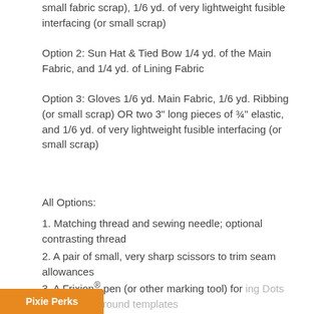small fabric scrap), 1/6 yd. of very lightweight fusible interfacing (or small scrap)
Option 2: Sun Hat & Tied Bow 1/4 yd. of the Main Fabric, and 1/4 yd. of Lining Fabric
Option 3: Gloves 1/6 yd. Main Fabric, 1/6 yd. Ribbing (or small scrap) OR two 3" long pieces of ¾" elastic, and 1/6 yd. of very lightweight fusible interfacing (or small scrap)
All Options:
1. Matching thread and sewing needle; optional contrasting thread
2. A pair of small, very sharp scissors to trim seam allowances
3. A Frixion® pen (or other marking tool) for ing Dots and tracing around templates
Pixie Perks